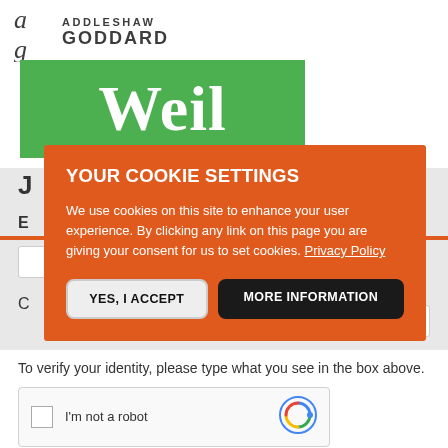[Figure (logo): Addleshaw Goddard logo with stylized 'ag' letterform and text ADDLESHAW GODDARD]
[Figure (logo): Weil logo in white bold serif text on a green background]
YOUR COOKIE SETTINGS
We use cookies on this site to enhance your user experience. By clicking any link on this page you are giving your consent for us to set cookies. Privacy Policy
YES, I ACCEPT
MORE INFORMATION
To verify your identity, please type what you see in the box above.
[Figure (screenshot): reCAPTCHA widget with checkbox and 'I'm not a robot' label]